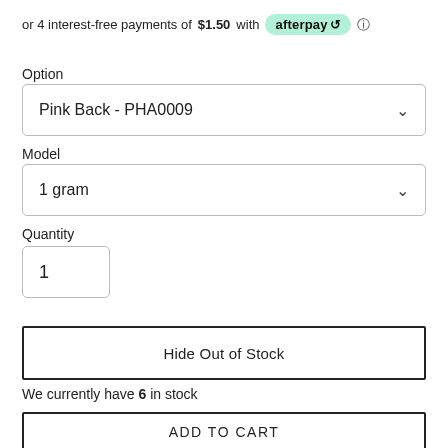or 4 interest-free payments of $1.50 with afterpay [info]
Option
Pink Back - PHA0009
Model
1 gram
Quantity
1
Hide Out of Stock
We currently have 6 in stock
ADD TO CART